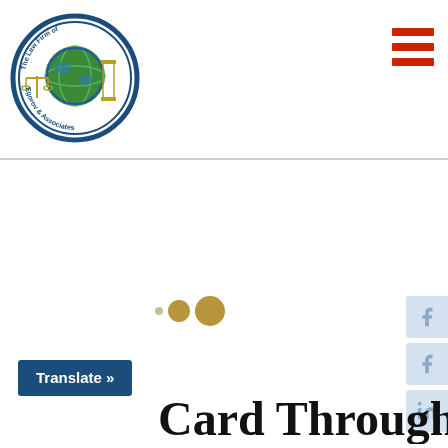[Figure (logo): The Law Firm of Egorov & Associates circular logo with globe, scales of justice, and column]
[Figure (other): Red hamburger menu icon (three horizontal red bars) in top right corner]
[Figure (other): Loading indicator with three dots (small tan, medium gold, large gold) in center of page]
[Figure (other): Social media icons (Facebook, Facebook, LinkedIn) on right edge of page]
Translate »
Card Through the